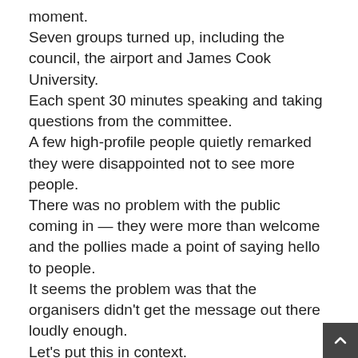moment.
Seven groups turned up, including the council, the airport and James Cook University.
Each spent 30 minutes speaking and taking questions from the committee.
A few high-profile people quietly remarked they were disappointed not to see more people.
There was no problem with the public coming in — they were more than welcome and the pollies made a point of saying hello to people.
It seems the problem was that the organisers didn't get the message out there loudly enough.
Let's put this in context.
Since Prime Minister Tony Abbott first told us about this ambitious plan, Wednesday was the first time regular members of the public could become involved in a face-to-face conversation with some of the nation's most powerful decision-makers.